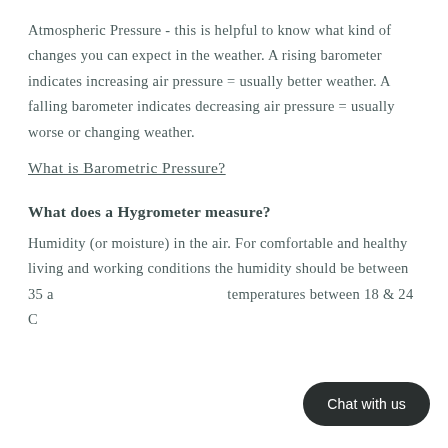Atmospheric Pressure - this is helpful to know what kind of changes you can expect in the weather. A rising barometer indicates increasing air pressure = usually better weather. A falling barometer indicates decreasing air pressure = usually worse or changing weather.
What is Barometric Pressure?
What does a Hygrometer measure?
Humidity (or moisture) in the air. For comfortable and healthy living and working conditions the humidity should be between 35 a... temperatures between 18 & 24 C...